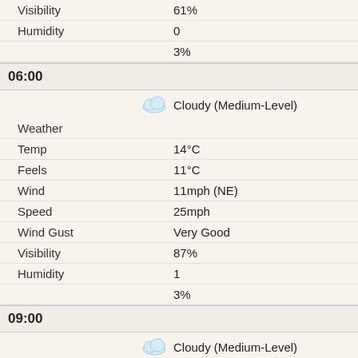| Label | Value |
| --- | --- |
| Visibility | 61% |
| Humidity | 0 |
|  | 3% |
06:00
| Label | Value |
| --- | --- |
| Weather | Cloudy (Medium-Level) |
| Temp | 14°C |
| Feels | 11°C |
| Wind | 11mph (NE) |
| Speed | 25mph |
| Wind Gust | Very Good |
| Visibility | 87% |
| Humidity | 1 |
|  | 3% |
09:00
| Label | Value |
| --- | --- |
| Weather | Cloudy (Medium-Level) |
| Temp | 17°C |
| Feels | 14°C |
| Wind | 13mph (NE) |
| Speed | 25mph |
| Wind Gust | Very Good |
| Visibility | 66% |
| Humidity | 3 |
|  | 3% |
12:00
| Label | Value |
| --- | --- |
| Weather | Cloudy (Medium-Level) |